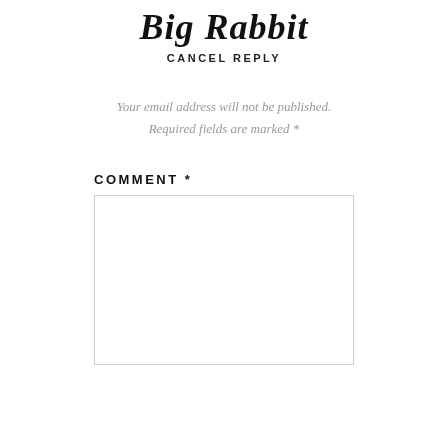Big Rabbit
CANCEL REPLY
Your email address will not be published. Required fields are marked *
COMMENT *
[Figure (other): Empty comment text area input box]